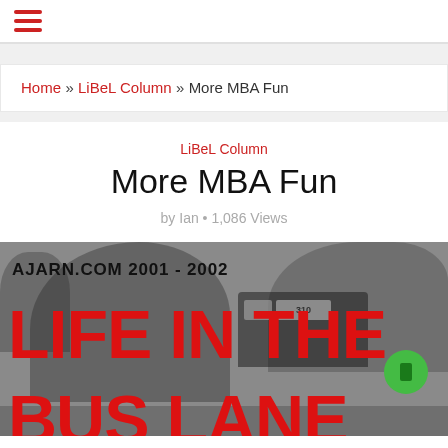☰ (hamburger menu)
Home » LiBeL Column » More MBA Fun
LiBeL Column
More MBA Fun
by Ian • 1,086 Views
[Figure (photo): Grayscale photo of a bus on a street with trees in background, overlaid with red bold text reading 'AJARN.COM 2001 - 2002' and 'LIFE IN THE BUS LANE' in large red letters. A green circle icon is visible in the lower right.]